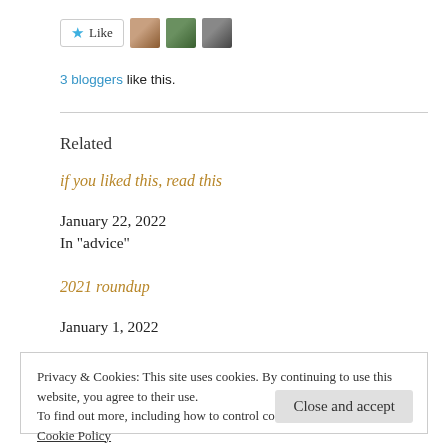[Figure (other): Like button with star icon and three blogger avatar thumbnails]
3 bloggers like this.
Related
if you liked this, read this
January 22, 2022
In "advice"
2021 roundup
January 1, 2022
Privacy & Cookies: This site uses cookies. By continuing to use this website, you agree to their use.
To find out more, including how to control cookies, see here:
Cookie Policy
Close and accept